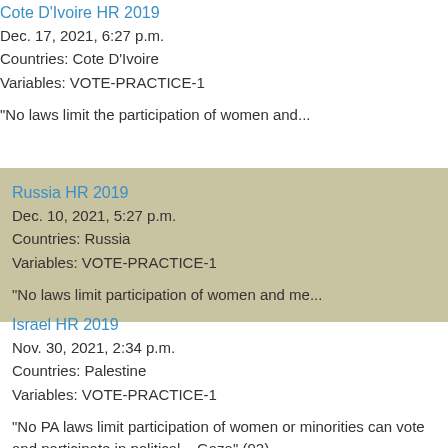Cote D'Ivoire HR 2019
Dec. 17, 2021, 6:27 p.m.
Countries: Cote D'Ivoire
Variables: VOTE-PRACTICE-1
"No laws limit the participation of women and...
Russia HR 2019
Dec. 10, 2021, 5:27 p.m.
Countries: Russia
Variables: VOTE-PRACTICE-1
"No laws limit participation of women and me...
Israel HR 2019
Nov. 30, 2021, 2:34 p.m.
Countries: Palestine
Variables: VOTE-PRACTICE-1
"No PA laws limit participation of women or minorities can vote and participate in political... Gaza" (92).